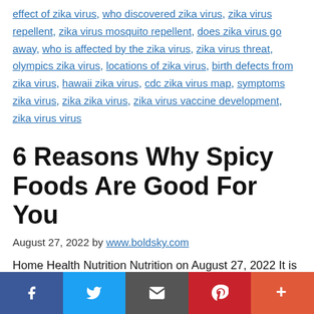effect of zika virus, who discovered zika virus, zika virus repellent, zika virus mosquito repellent, does zika virus go away, who is affected by the zika virus, zika virus threat, olympics zika virus, locations of zika virus, birth defects from zika virus, hawaii zika virus, cdc zika virus map, symptoms zika virus, zika zika virus, zika virus vaccine development, zika virus virus
6 Reasons Why Spicy Foods Are Good For You
August 27, 2022 by www.boldsky.com
Home Health Nutrition Nutrition on August 27, 2022 It is common to think that spiciness is a taste.